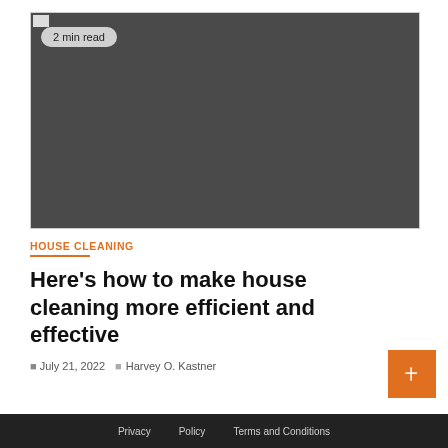[Figure (photo): Dark gray/charcoal colored hero image placeholder with a '2 min read' badge in the top-left corner and a small broken image icon]
HOUSE CLEANING
Here's how to make house cleaning more efficient and effective
July 21, 2022  Harvey O. Kastner
Privacy  Policy  Terms and Conditions